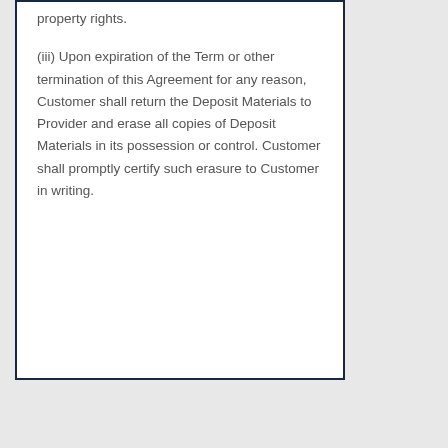property rights.
(iii) Upon expiration of the Term or other termination of this Agreement for any reason, Customer shall return the Deposit Materials to Provider and erase all copies of Deposit Materials in its possession or control. Customer shall promptly certify such erasure to Customer in writing.